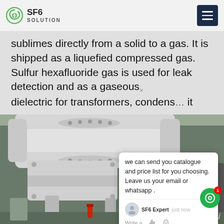SF6 SOLUTION
sublimes directly from a solid to a gas. It is shipped as a liquefied compressed gas. Sulfur hexafluoride gas is used for leak detection and as a gaseous dielectric for transformers, condons... it
[Figure (photo): Industrial SF6 gas equipment — large white insulated pipe/bushing assembly and electrical switchgear components inside an industrial facility]
we can send you catalogue and price list for you choosing. Leave us your email or whatsapp .
SF6 Expert   just now
Write a